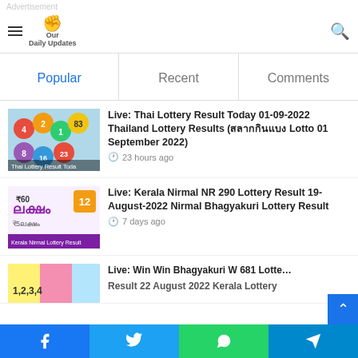Advertisement
Our Daily Updates — navigation header with hamburger menu and search icon
Popular | Recent | Comments
Live: Thai Lottery Result Today 01-09-2022 Thailand Lottery Results (สลากกินแบง Lotto 01 September 2022)
23 hours ago
Live: Kerala Nirmal NR 290 Lottery Result 19-August-2022 Nirmal Bhagyakuri Lottery Result
7 days ago
Live: Win Win Bhagyakuri W 681 Lottery Result 22 August 2022 Kerala Lottery
Facebook | Twitter | WhatsApp | Telegram